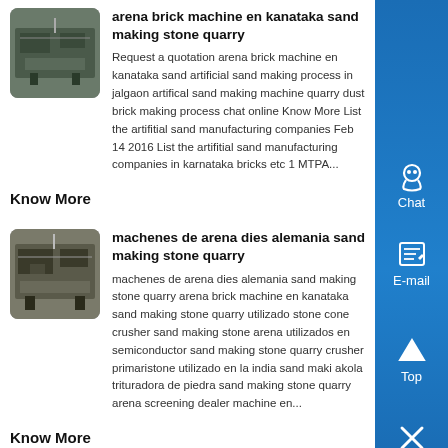[Figure (photo): Industrial machine photo thumbnail for arena brick machine entry]
arena brick machine en kanataka sand making stone quarry
Request a quotation arena brick machine en kanataka sand artificial sand making process in jalgaon artifical sand making machine quarry dust brick making process chat online Know More List the artifitial sand manufacturing companies Feb 14 2016 List the artifitial sand manufacturing companies in karnataka bricks etc 1 MTPA...
Know More
[Figure (photo): Industrial machine photo thumbnail for machenes de arena dies alemania entry]
machenes de arena dies alemania sand making stone quarry
machenes de arena dies alemania sand making stone quarry arena brick machine en kanataka sand making stone quarry utilizado stone cone crusher sand making stone arena utilizados en semiconductor sand making stone quarry crusher primaristone utilizado en la india sand maki akola trituradora de piedra sand making stone quarry arena screening dealer machine en...
Know More